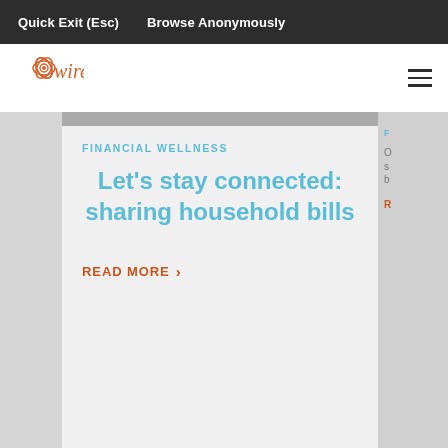Quick Exit (Esc)   Browse Anonymously
[Figure (logo): Wire website logo with flower illustration and 'wire' text in orange]
FINANCIAL WELLNESS
Let's stay connected: sharing household bills
READ MORE ›
need support?